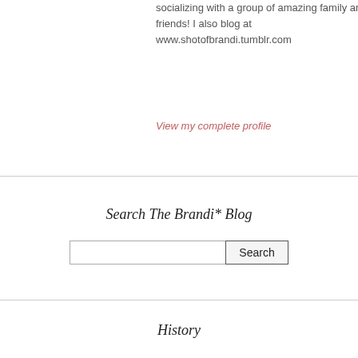socializing with a group of amazing family and friends!  I also blog at www.shotofbrandi.tumblr.com
View my complete profile
Search The Brandi* Blog
History
+ 2022
+ 2021
+ 2020
+ 2019
+ 2018
+ 2017